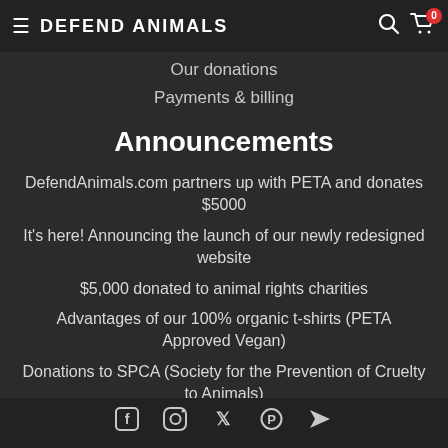≡ DEFEND ANIMALS  🔍 🛒 0
Our donations
Payments & billing
Announcements
DefendAnimals.com partners up with PETA and donates $5000
It's here! Announcing the launch of our newly redesigned website
$5,000 donated to animal rights charities
Advantages of our 100% organic t-shirts (PETA Approved Vegan)
Donations to SPCA (Society for the Prevention of Cruelty to Animals)
[Figure (other): Social media icons row at bottom: Facebook, Instagram, Twitter/X, Pinterest, and another icon]